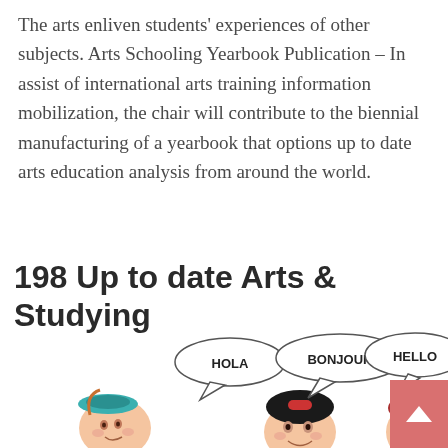The arts enliven students' experiences of other subjects. Arts Schooling Yearbook Publication – In assist of international arts training information mobilization, the chair will contribute to the biennial manufacturing of a yearbook that options up to date arts education analysis from around the world.
198 Up to date Arts & Studying
[Figure (illustration): Cartoon illustration of three children with speech bubbles saying HOLA, BONJOUR, and HELLO, representing multilingual arts education]